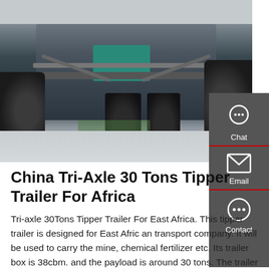[Figure (photo): Undercarriage view of a tri-axle tipper trailer showing axles, wheels, suspension components, and a teal/turquoise differential or gearbox component mounted on the chassis frame.]
China Tri-Axle 30 Tons Tipper Trailer For Africa
Tri-axle 30Tons Tipper Trailer For East Africa. This tipper trailer is designed for East Afric an transport company. It will be used to carry the mine, chemical fertilizer etc. Its trailer box is 38cbm. and the payload is around 30 tons. The trailer body adopts U shape design.